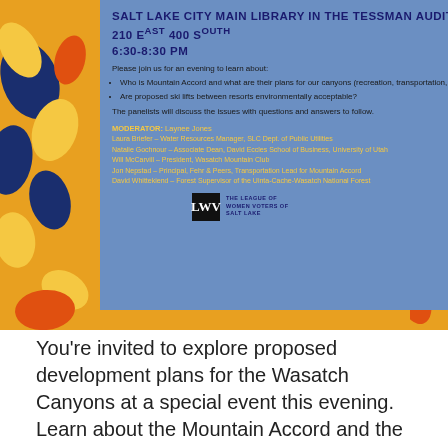[Figure (illustration): Event flyer poster with blue panel on orange/yellow background with leaf decorations, showing League of Women Voters event at Salt Lake City Main Library]
SALT LAKE CITY MAIN LIBRARY IN THE TESSMAN AUDITORIUM 210 EAST 400 SOUTH 6:30-8:30 PM
Please join us for an evening to learn about:
Who is Mountain Accord and what are their plans for our canyons (recreation, transportation, economy, and the environment)?
Are proposed ski lifts between resorts environmentally acceptable?
The panelists will discuss the issues with questions and answers to follow.
MODERATOR: Laynee Jones
Laura Briefer – Water Resources Manager, SLC Dept. of Public Utilities
Natalie Gochnour – Associate Dean, David Eccles School of Business, University of Utah
Will McCarvill – President, Wasatch Mountain Club
Jon Nepstad – Principal, Fehr & Peers, Transportation Lead for Mountain Accord
David Whittekiend – Forest Supervisor of the Uinta-Cache-Wasatch National Forest
You're invited to explore proposed development plans for the Wasatch Canyons at a special event this evening. Learn about the Mountain Accord and the future of our canyons for recreation, transportation, economy and